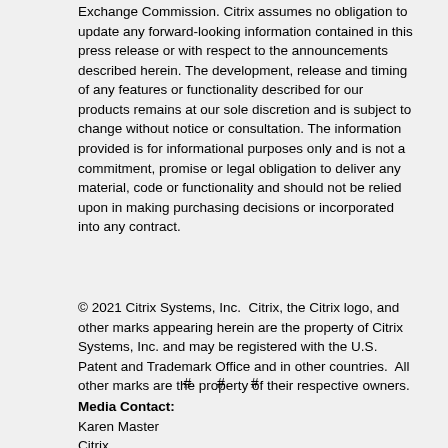Exchange Commission. Citrix assumes no obligation to update any forward-looking information contained in this press release or with respect to the announcements described herein. The development, release and timing of any features or functionality described for our products remains at our sole discretion and is subject to change without notice or consultation. The information provided is for informational purposes only and is not a commitment, promise or legal obligation to deliver any material, code or functionality and should not be relied upon in making purchasing decisions or incorporated into any contract.
© 2021 Citrix Systems, Inc.  Citrix, the Citrix logo, and other marks appearing herein are the property of Citrix Systems, Inc. and may be registered with the U.S. Patent and Trademark Office and in other countries.  All other marks are the property of their respective owners.
# # #
Media Contact:
Karen Master
Citrix